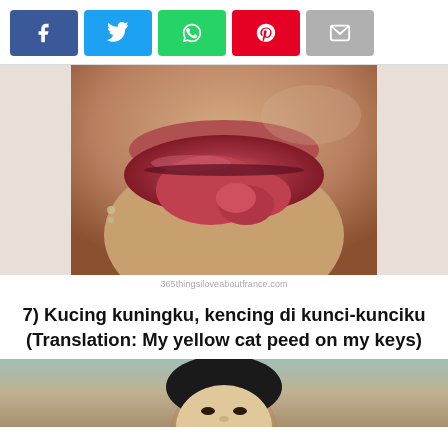[Figure (other): Row of social media share buttons: Facebook (blue), Twitter (light blue), WhatsApp (green), Pinterest (red), Email (grey)]
[Figure (photo): Close-up photograph of a person's mouth with tongue folded or curled, attributed to 365thingsiloveaboutfrance.com]
365thingsiloveaboutfrance.com
7) Kucing kuningku, kencing di kunci-kunciku
(Translation: My yellow cat peed on my keys)
[Figure (photo): Partial image of a painting or illustration of a person's face, cropped, showing top portion of head at bottom of page]